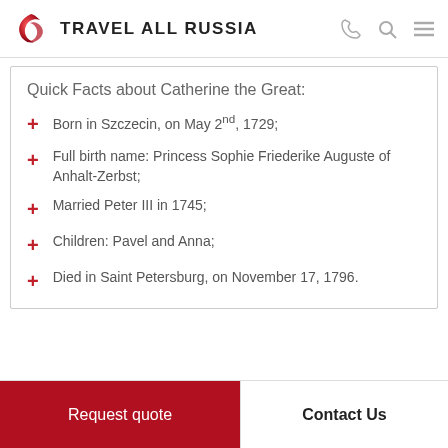TRAVEL ALL RUSSIA
Quick Facts about Catherine the Great:
Born in Szczecin, on May 2nd, 1729;
Full birth name: Princess Sophie Friederike Auguste of Anhalt-Zerbst;
Married Peter III in 1745;
Children: Pavel and Anna;
Died in Saint Petersburg, on November 17, 1796.
Request quote | Contact Us